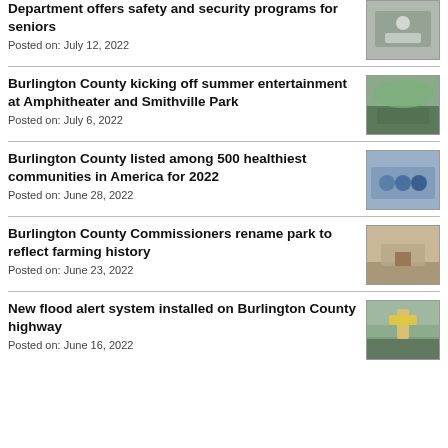Department offers safety and security programs for seniors
Posted on: July 12, 2022
Burlington County kicking off summer entertainment at Amphitheater and Smithville Park
Posted on: July 6, 2022
Burlington County listed among 500 healthiest communities in America for 2022
Posted on: June 28, 2022
Burlington County Commissioners rename park to reflect farming history
Posted on: June 23, 2022
New flood alert system installed on Burlington County highway
Posted on: June 16, 2022
[Figure (photo): Photo thumbnail for safety programs for seniors article]
[Figure (photo): Photo thumbnail for summer entertainment article]
[Figure (photo): Photo thumbnail for healthiest communities article]
[Figure (photo): Photo thumbnail for park rename article]
[Figure (photo): Photo thumbnail for flood alert system article]